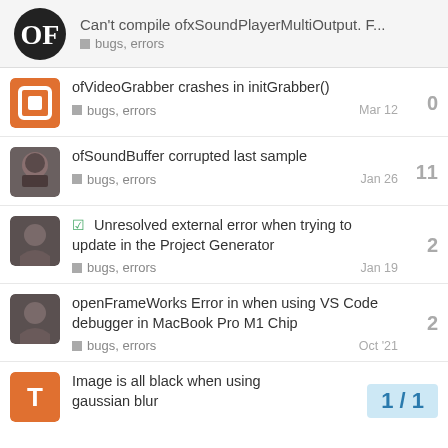Can't compile ofxSoundPlayerMultiOutput. F... | bugs, errors
ofVideoGrabber crashes in initGrabber() | bugs, errors | Mar 12 | 0 replies
ofSoundBuffer corrupted last sample | bugs, errors | Jan 26 | 11 replies
✓ Unresolved external error when trying to update in the Project Generator | bugs, errors | Jan 19 | 2 replies
openFrameWorks Error in when using VS Code debugger in MacBook Pro M1 Chip | bugs, errors | Oct '21 | 2 replies
Image is all black when using gaussian blur | 1 / 1